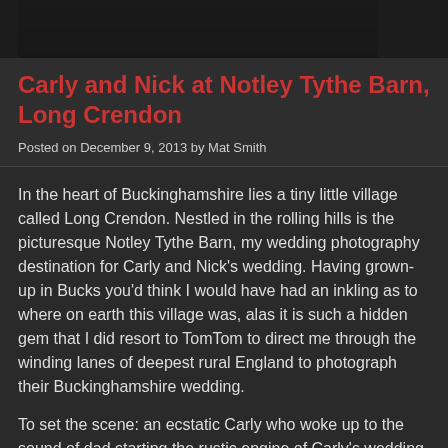[Figure (photo): Dark photo strip at top of page, partially visible image with dark tones]
Carly and Nick at Notley Tythe Barn, Long Crendon
Posted on December 9, 2013 by Mat Smith
In the heart of Buckinghamshire lies a tiny little village called Long Crendon. Nestled in the rolling hills is the picturesque Notley Tythe Barn, my wedding photography destination for Carly and Nick's wedding. Having grown-up in Bucks you'd think I would have had an inkling as to where on earth this village was, alas it is such a hidden gem that I did resort to TomTom to direct me through the winding lanes of deepest rural England to photograph their Buckinghamshire wedding.
To set the scene: an ecstatic Carly who woke up to the sound of dad starting the rustic engine of Carly's wedding surprise – her wedding carriage – a resplendent baby-blue VW Camper Van. A seriously talented mum who made not